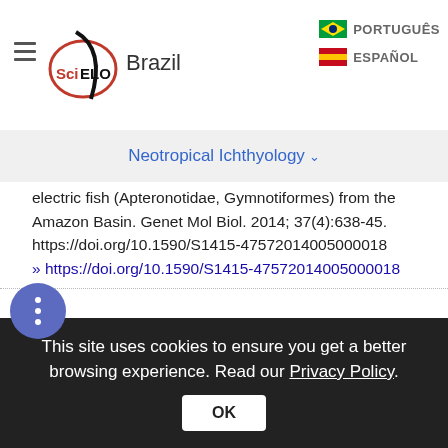SciELO Brazil | Neotropical Ichthyology
electric fish (Apteronotidae, Gymnotiformes) from the Amazon Basin. Genet Mol Biol. 2014; 37(4):638-45. https://doi.org/10.1590/S1415-47572014005000018
» https://doi.org/10.1590/S1415-47572014005000018
Smith AR, Proffitt MR, Ho WW, Mullaney CB, Maldonado-Ocampo JA, Lovejoy NR, Alves-Gomes JA, Smith GT. Evolution of electric communication signals in the South American ghost knifefishes (Gymnotiformes: Apteronotidae): A phylogenetic comparative
This site uses cookies to ensure you get a better browsing experience. Read our Privacy Policy. OK